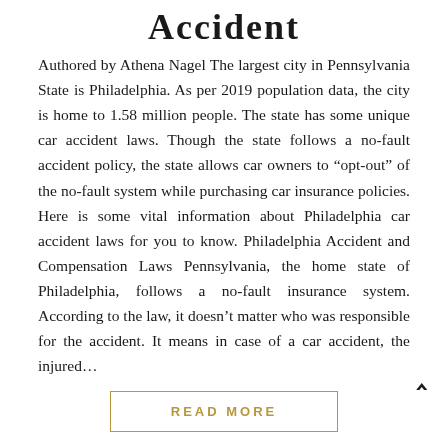Accident
Authored by Athena Nagel The largest city in Pennsylvania State is Philadelphia. As per 2019 population data, the city is home to 1.58 million people. The state has some unique car accident laws. Though the state follows a no-fault accident policy, the state allows car owners to “opt-out” of the no-fault system while purchasing car insurance policies. Here is some vital information about Philadelphia car accident laws for you to know. Philadelphia Accident and Compensation Laws Pennsylvania, the home state of Philadelphia, follows a no-fault insurance system. According to the law, it doesn’t matter who was responsible for the accident. It means in case of a car accident, the injured…
READ MORE